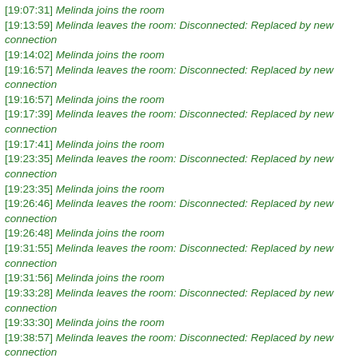[19:07:31] Melinda joins the room
[19:13:59] Melinda leaves the room: Disconnected: Replaced by new connection
[19:14:02] Melinda joins the room
[19:16:57] Melinda leaves the room: Disconnected: Replaced by new connection
[19:16:57] Melinda joins the room
[19:17:39] Melinda leaves the room: Disconnected: Replaced by new connection
[19:17:41] Melinda joins the room
[19:23:35] Melinda leaves the room: Disconnected: Replaced by new connection
[19:23:35] Melinda joins the room
[19:26:46] Melinda leaves the room: Disconnected: Replaced by new connection
[19:26:48] Melinda joins the room
[19:31:55] Melinda leaves the room: Disconnected: Replaced by new connection
[19:31:56] Melinda joins the room
[19:33:28] Melinda leaves the room: Disconnected: Replaced by new connection
[19:33:30] Melinda joins the room
[19:38:57] Melinda leaves the room: Disconnected: Replaced by new connection
[19:38:57] Melinda joins the room